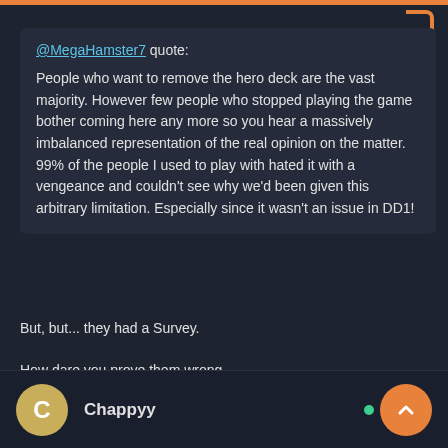@MegaHamster7 quote: People who want to remove the hero deck are the vast majority. However few people who stopped playing the game bother coming here any more so you hear a massively imbalanced representation of the real opinion on the matter. 99% of the people I used to play with hated it with a vengeance and couldn't see why we'd been given this arbitrary limitation. Especially since it wasn't an issue in DD1!
But, but... they had a Survey.
How dare you prove them wrong.
Chappyy